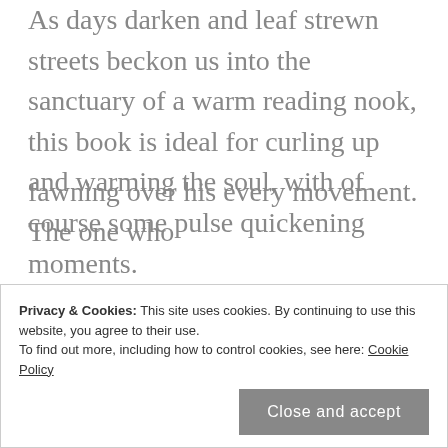As days darken and leaf strewn streets beckon us into the sanctuary of a warm reading nook, this book is ideal for curling up and warming the soul, with of course some pulse quickening moments.
It's the first in a new series (although it never really matters which part of a romance series you begin with), set in the Georgian period and is an idol story. Lord Alaric Wilde returns to England from years of exploring and writing to find out he has become something of a sensation, with leagues of women
Privacy & Cookies: This site uses cookies. By continuing to use this website, you agree to their use.
To find out more, including how to control cookies, see here: Cookie Policy
Close and accept
fawning over his every movement. The one who